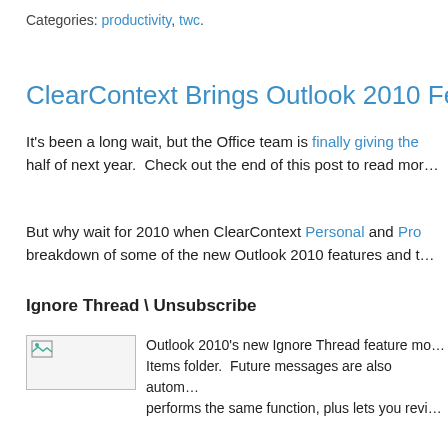Categories: productivity, twc.
ClearContext Brings Outlook 2010 Features to O…
It's been a long wait, but the Office team is finally giving the… half of next year.  Check out the end of this post to read mor…
But why wait for 2010 when ClearContext Personal and Pro… breakdown of some of the new Outlook 2010 features and t…
Ignore Thread \ Unsubscribe
[Figure (screenshot): Small image placeholder with broken image icon]
Outlook 2010's new Ignore Thread feature mo… Items folder.  Future messages are also autom… performs the same function, plus lets you revi…
Conversation View \ MessageContext
[Figure (screenshot): RelatedView image placeholder]
The new default view for Outlook 2010 is a… the Inbox.  ClearContext provides a similar threaded convers… MessageC… is displaying the conversation…